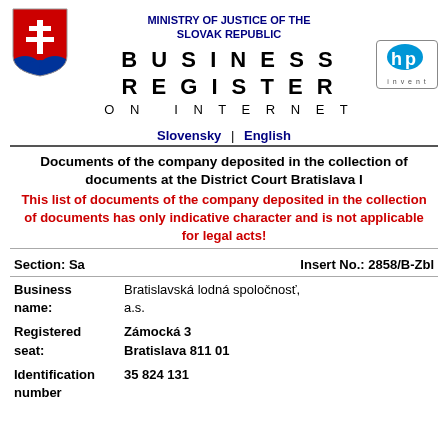[Figure (logo): Slovak coat of arms: red shield with white double cross on blue hills]
MINISTRY OF JUSTICE OF THE SLOVAK REPUBLIC
BUSINESS REGISTER ON INTERNET
[Figure (logo): HP (Hewlett-Packard) logo in rounded rectangle]
Slovensky | English
Documents of the company deposited in the collection of documents at the District Court Bratislava I
This list of documents of the company deposited in the collection of documents has only indicative character and is not applicable for legal acts!
Section:  Sa
Insert No.:  2858/B-Zbl
Business name: Bratislavská lodná spoločnosť, a.s.
Registered seat: Zámocká 3 Bratislava 811 01
Identification number 35 824 131